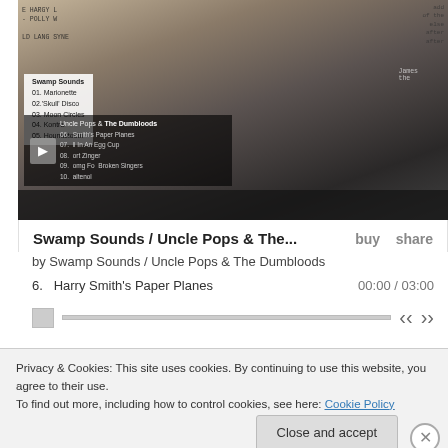[Figure (screenshot): Music player album art collage showing torn paper/newspaper fragments layered over a face portrait, in black and white and tan tones. Bandcamp embedded player interface.]
Swamp Sounds / Uncle Pops & The...   buy   share
by Swamp Sounds / Uncle Pops & The Dumbloods
6.  Harry Smith's Paper Planes   00:00 / 03:00
Privacy & Cookies: This site uses cookies. By continuing to use this website, you agree to their use.
To find out more, including how to control cookies, see here: Cookie Policy
Close and accept
Advertisements